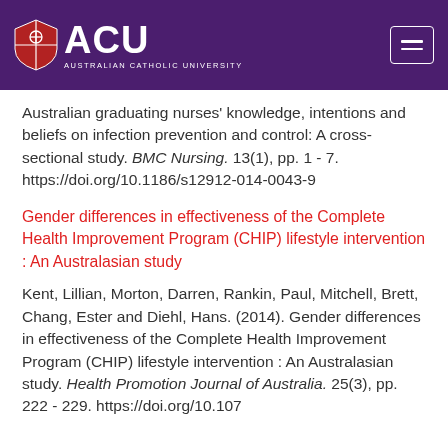ACU Australian Catholic University
Australian graduating nurses' knowledge, intentions and beliefs on infection prevention and control: A cross-sectional study. BMC Nursing. 13(1), pp. 1 - 7. https://doi.org/10.1186/s12912-014-0043-9
Gender differences in effectiveness of the Complete Health Improvement Program (CHIP) lifestyle intervention : An Australasian study
Kent, Lillian, Morton, Darren, Rankin, Paul, Mitchell, Brett, Chang, Ester and Diehl, Hans. (2014). Gender differences in effectiveness of the Complete Health Improvement Program (CHIP) lifestyle intervention : An Australasian study. Health Promotion Journal of Australia. 25(3), pp. 222 - 229. https://doi.org/10.107